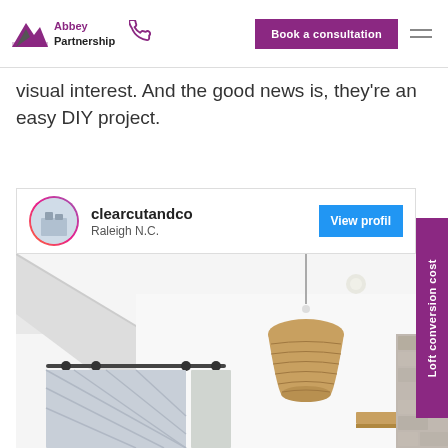Abbey Partnership | Book a consultation
visual interest. And the good news is, they're an easy DIY project.
[Figure (screenshot): Profile card showing clearcutandco from Raleigh N.C. with a View profile button]
[Figure (photo): Interior room photo showing white ceiling with exposed beams, a woven pendant light, a barn door with metal hardware, a wooden shelf, and grey stone wall panel]
Loft conversion cost